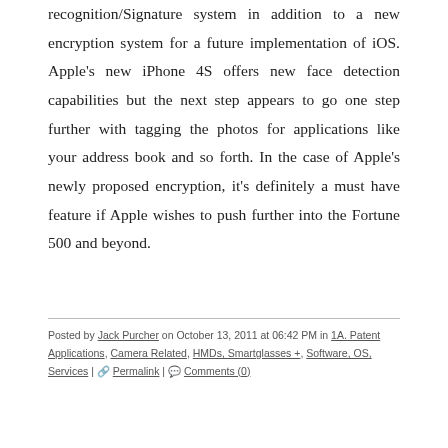recognition/Signature system in addition to a new encryption system for a future implementation of iOS. Apple's new iPhone 4S offers new face detection capabilities but the next step appears to go one step further with tagging the photos for applications like your address book and so forth. In the case of Apple's newly proposed encryption, it's definitely a must have feature if Apple wishes to push further into the Fortune 500 and beyond.
Posted by Jack Purcher on October 13, 2011 at 06:42 PM in 1A. Patent Applications, Camera Related, HMDs, Smartglasses +, Software, OS, Services | Permalink | Comments (0)